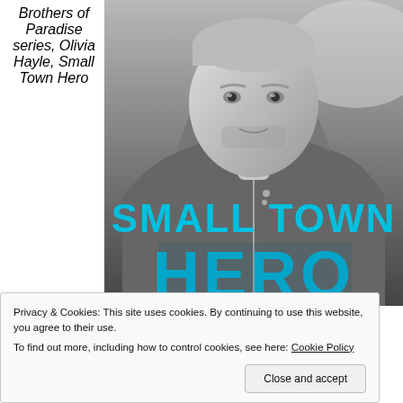Brothers of Paradise series, Olivia Hayle, Small Town Hero
[Figure (photo): Book cover of 'Small Town Hero' by Olivia Hayle (Brothers of Paradise series). Black and white photo of a man with stubble wearing a hoodie, looking directly at camera. Large cyan/turquoise text reads 'SMALL TOWN HERO' across the lower half of the cover.]
Privacy & Cookies: This site uses cookies. By continuing to use this website, you agree to their use.
To find out more, including how to control cookies, see here: Cookie Policy
Close and accept